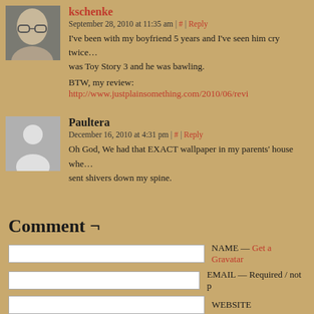kschenke — September 28, 2010 at 11:35 am | # | Reply — I've been with my boyfriend 5 years and I've seen him cry twice… was Toy Story 3 and he was bawling. BTW, my review: http://www.justplainsomething.com/2010/06/revi
Paultera — December 16, 2010 at 4:31 pm | # | Reply — Oh God, We had that EXACT wallpaper in my parents' house whe… sent shivers down my spine.
Comment ¬
NAME — Get a Gravatar
EMAIL — Required / not p
WEBSITE